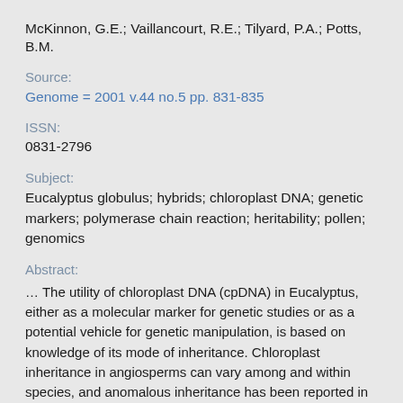McKinnon, G.E.; Vaillancourt, R.E.; Tilyard, P.A.; Potts, B.M.
Source:
Genome = 2001 v.44 no.5 pp. 831-835
ISSN:
0831-2796
Subject:
Eucalyptus globulus; hybrids; chloroplast DNA; genetic markers; polymerase chain reaction; heritability; pollen; genomics
Abstract:
… The utility of chloroplast DNA (cpDNA) in Eucalyptus, either as a molecular marker for genetic studies or as a potential vehicle for genetic manipulation, is based on knowledge of its mode of inheritance. Chloroplast inheritance in angiosperms can vary among and within species, and anomalous inheritance has been reported in some interspecific-hybrid combinations. In Eucalyptus, abnormalities of po …